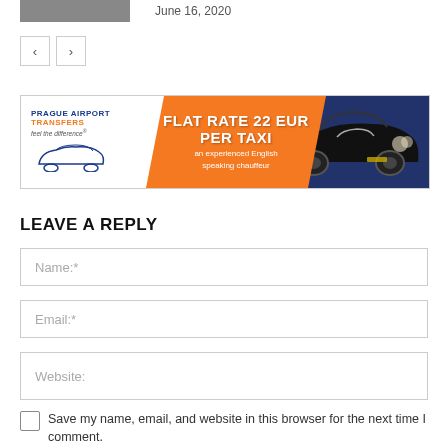June 16, 2020
[Figure (photo): Partial photo visible at top left corner]
[Figure (other): Navigation previous/next buttons]
[Figure (other): Prague Airport Transfers advertisement banner: FLAT RATE 22 EUR PER TAXI, an experienced English speaking chauffeur]
LEAVE A REPLY
Name:*
Email:*
Website:
Save my name, email, and website in this browser for the next time I comment.